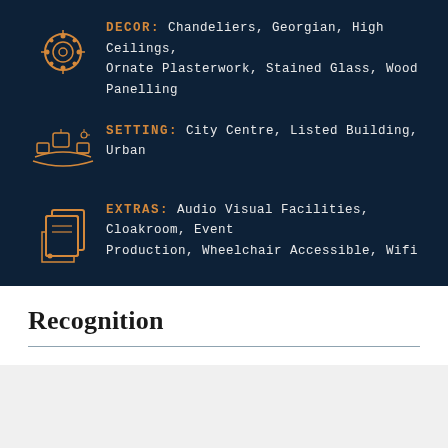DECOR: Chandeliers, Georgian, High Ceilings, Ornate Plasterwork, Stained Glass, Wood Panelling
SETTING: City Centre, Listed Building, Urban
EXTRAS: Audio Visual Facilities, Cloakroom, Event Production, Wheelchair Accessible, Wifi
Recognition